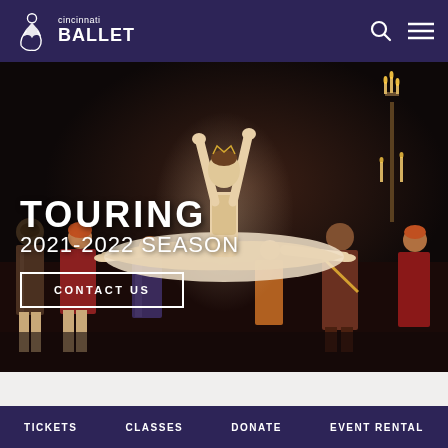[Figure (logo): Cincinnati Ballet logo: stylized dancer icon in white with text 'cincinnati BALLET' in white on dark purple header bar]
[Figure (photo): Ballet performance photo showing a dancer in mid-leap with arms raised, wearing a light-colored costume, surrounded by ensemble cast in Renaissance/masked ball costumes on a dark stage with candelabras]
TOURING
2021-2022 SEASON
CONTACT US
TICKETS   CLASSES   DONATE   EVENT RENTAL